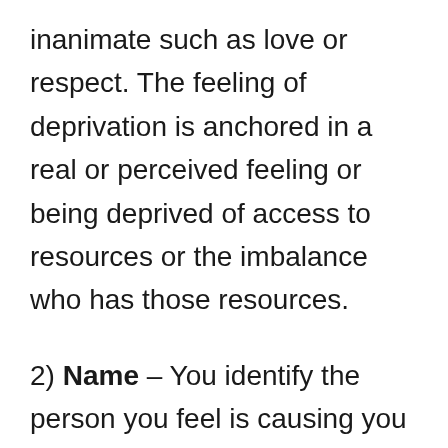inanimate such as love or respect. The feeling of deprivation is anchored in a real or perceived feeling or being deprived of access to resources or the imbalance who has those resources.
2) Name – You identify the person you feel is causing you this deprivation.
3) Blame – You blame them for their